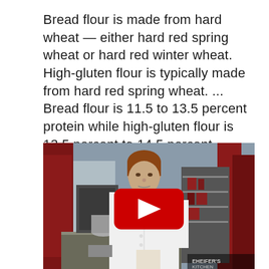Bread flour is made from hard wheat — either hard red spring wheat or hard red winter wheat. High-gluten flour is typically made from hard red spring wheat. ... Bread flour is 11.5 to 13.5 percent protein while high-gluten flour is 13.5 percent to 14.5 percent protein.
[Figure (screenshot): Video thumbnail showing a female chef in a white chef's coat standing in a commercial kitchen with red accents. A YouTube play button (red rounded rectangle with white triangle) is overlaid in the center.]